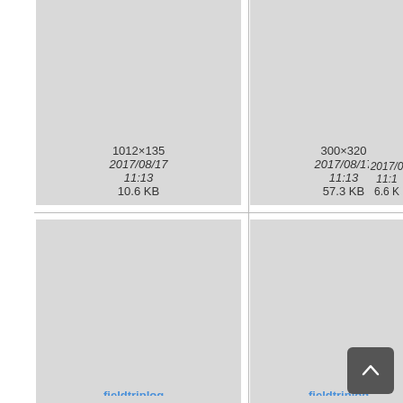[Figure (screenshot): File browser grid view showing image thumbnails with filenames, dimensions, dates and file sizes. Row 1 (partial/cropped at top): two thumbnails showing dates 2017/08/17 11:13, sizes 10.6 KB and 57.3 KB. Row 2: fieldtriplog... thumbnails, 150x85 2017/08/17 11:12 9.2 KB and 160x91 2017/08/17 11:13 9.5 KB, plus partial third column. Row 3 (partial at bottom): two more fieldtriplog... thumbnails. Context menu overlay with clock and link icons visible on third column of row 2. Scroll-to-top button in bottom right.]